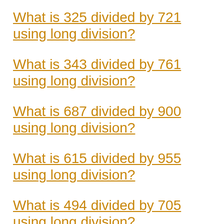What is 325 divided by 721 using long division?
What is 343 divided by 761 using long division?
What is 687 divided by 900 using long division?
What is 615 divided by 955 using long division?
What is 494 divided by 705 using long division?
What is 345 divided by 749 using long division?